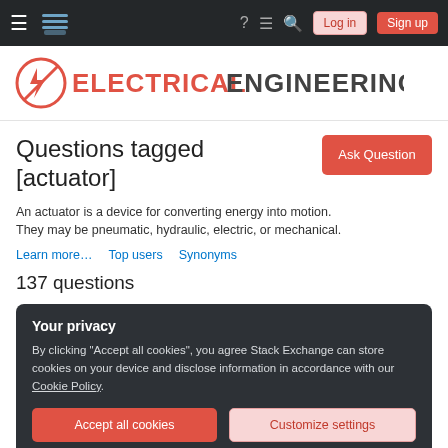Navigation bar with hamburger menu, Stack Exchange logo, help, feedback, search icons, Log in and Sign up buttons
[Figure (logo): Electrical Engineering Stack Exchange logo: red circle with lightning bolt icon and text ELECTRICAL ENGINEERING]
Questions tagged [actuator]
An actuator is a device for converting energy into motion. They may be pneumatic, hydraulic, electric, or mechanical.
Learn more…   Top users   Synonyms
137 questions
Your privacy
By clicking "Accept all cookies", you agree Stack Exchange can store cookies on your device and disclose information in accordance with our Cookie Policy.
Accept all cookies   Customize settings
length, 900 N force, 10 mm speed, 12 V operational voltage I bought it for 250 AUS...